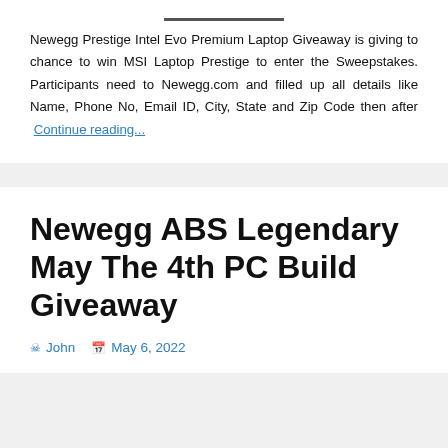Newegg Prestige Intel Evo Premium Laptop Giveaway is giving to chance to win MSI Laptop Prestige to enter the Sweepstakes. Participants need to Newegg.com and filled up all details like Name, Phone No, Email ID, City, State and Zip Code then after Continue reading...
Newegg ABS Legendary May The 4th PC Build Giveaway
John  May 6, 2022